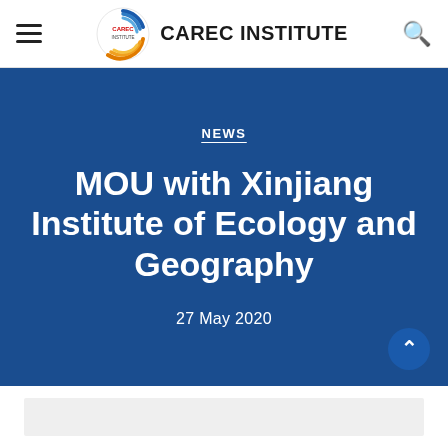CAREC INSTITUTE
NEWS
MOU with Xinjiang Institute of Ecology and Geography
27 May 2020